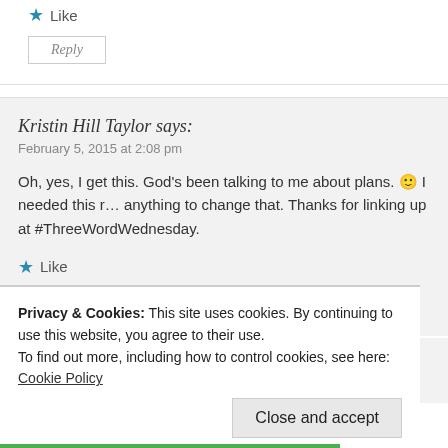Like
Reply
Kristin Hill Taylor says:
February 5, 2015 at 2:08 pm
Oh, yes, I get this. God's been talking to me about plans. 🙂 I needed this r… anything to change that. Thanks for linking up at #ThreeWordWednesday.
Like
Reply
Faith Like Dirty Diapers says:
February 5, 2015 at 7:26 pm
Privacy & Cookies: This site uses cookies. By continuing to use this website, you agree to their use. To find out more, including how to control cookies, see here: Cookie Policy
Close and accept